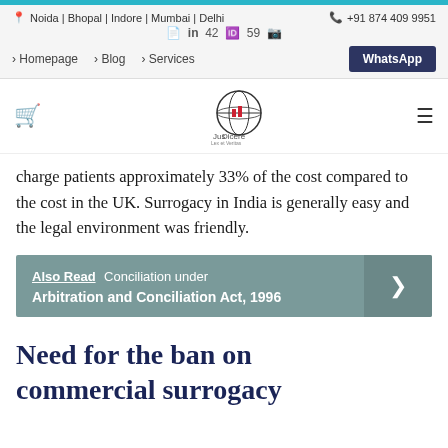Noida | Bhopal | Indore | Mumbai | Delhi   +91 874 409 9951
Social icons row: Facebook, LinkedIn, 42, Twitter, 59, Instagram
Navigation: Homepage | Blog | Services | WhatsApp
[Figure (logo): Jus Dicere logo with globe and red scales icon, shopping cart icon on left, hamburger menu on right]
charge patients approximately 33% of the cost compared to the cost in the UK. Surrogacy in India is generally easy and the legal environment was friendly.
Also Read  Conciliation under Arbitration and Conciliation Act, 1996
Need for the ban on commercial surrogacy